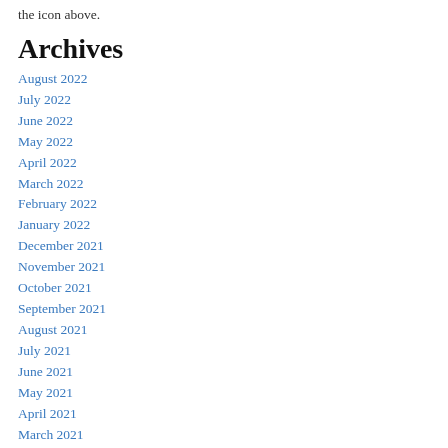the icon above.
Archives
August 2022
July 2022
June 2022
May 2022
April 2022
March 2022
February 2022
January 2022
December 2021
November 2021
October 2021
September 2021
August 2021
July 2021
June 2021
May 2021
April 2021
March 2021